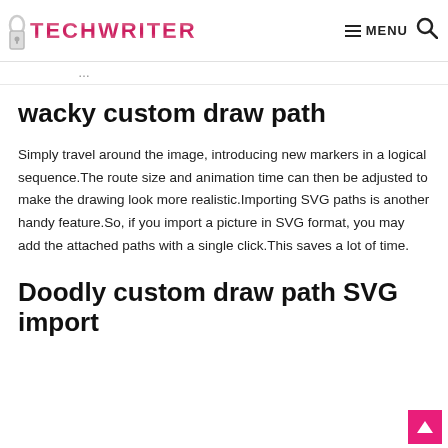TECHWRITER — MENU
wacky custom draw path
Simply travel around the image, introducing new markers in a logical sequence.The route size and animation time can then be adjusted to make the drawing look more realistic.Importing SVG paths is another handy feature.So, if you import a picture in SVG format, you may add the attached paths with a single click.This saves a lot of time.
Doodly custom draw path SVG import